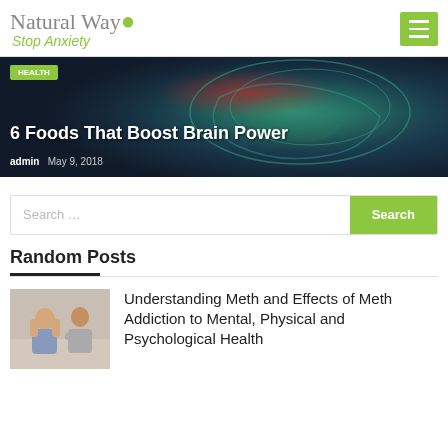Natural Way Stop Anxiety
[Figure (photo): Hero image showing a colorful digital brain illustration with glowing green and blue tones; overlaid with article title '6 Foods That Boost Brain Power', by admin, May 9, 2018]
6 Foods That Boost Brain Power
admin   May 9, 2018
Random Posts
[Figure (photo): Thumbnail photo of a man and woman sitting apart, woman with head in hands, appearing distressed]
Understanding Meth and Effects of Meth Addiction to Mental, Physical and Psychological Health